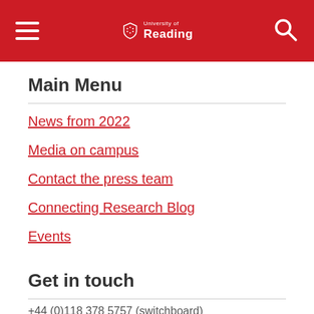University of Reading — site header with hamburger menu, logo, and search icon
Main Menu
News from 2022
Media on campus
Contact the press team
Connecting Research Blog
Events
Get in touch
+44 (0)118 378 5757 (switchboard)